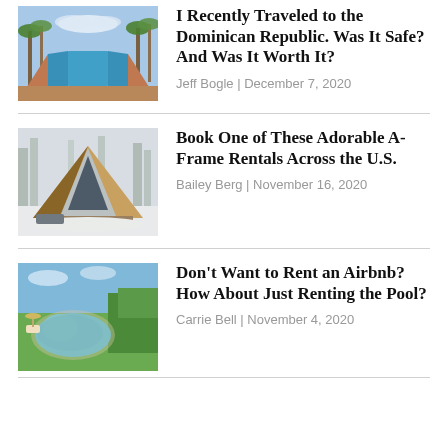[Figure (photo): Aerial view of a long swimming pool flanked by palm trees and brick pathways at a tropical resort in the Dominican Republic]
I Recently Traveled to the Dominican Republic. Was It Safe? And Was It Worth It?
Jeff Bogle | December 7, 2020
[Figure (photo): A-frame cabin in a snowy winter setting with tall trees in the background]
Book One of These Adorable A-Frame Rentals Across the U.S.
Bailey Berg | November 16, 2020
[Figure (photo): Outdoor swimming pool surrounded by lush green garden and patio furniture]
Don't Want to Rent an Airbnb? How About Just Renting the Pool?
Carrie Bell | November 4, 2020